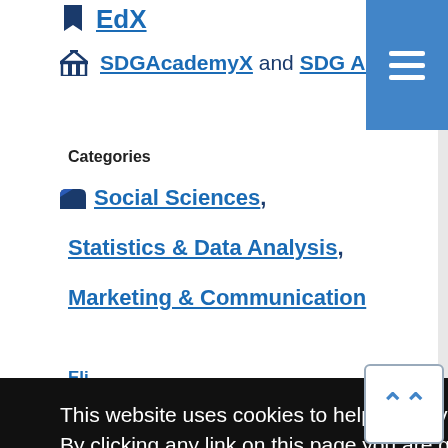EdX
SDGAcademyX and SDG Academy
Categories
Social Sciences,
Statistics & Data Analysis,
Marketing & Communication
This website uses cookies to help us provide you a better experience. By clicking any link on this page you are giving your consent for us to set cookies. Learn more
Got it!
What opportunities and challenges do digital